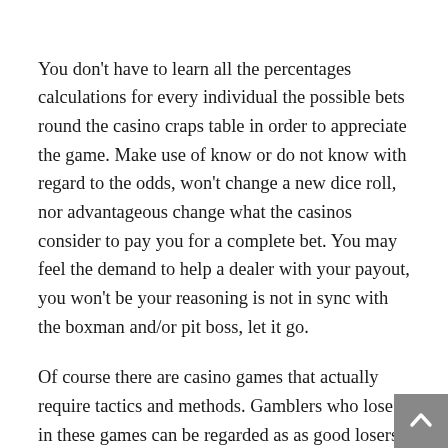You don't have to learn all the percentages calculations for every individual the possible bets round the casino craps table in order to appreciate the game. Make use of know or do not know with regard to the odds, won't change a new dice roll, nor advantageous change what the casinos consider to pay you for a complete bet. You may feel the demand to help a dealer with your payout, you won't be your reasoning is not in sync with the boxman and/or pit boss, let it go.
Of course there are casino games that actually require tactics and methods. Gamblers who lose in these games can be regarded as as good losers when take time for examine their play to discover what they did wrong. They take lessons from these mistakes and ensure that